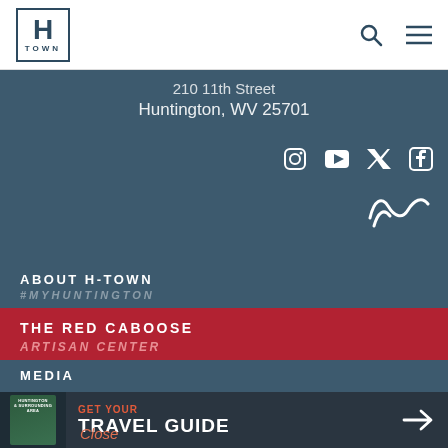H TOWN logo, search icon, menu icon
210 11th Street
Huntington, WV 25701
[Figure (other): Social media icons: Instagram, YouTube, Twitter, Facebook]
[Figure (other): Squiggly/wave logo icon]
ABOUT H-TOWN
#MYHUNTINGTON
THE RED CABOOSE
ARTISAN CENTER
MEDIA
[Figure (other): Travel guide book cover image]
GET YOUR
TRAVEL GUIDE
Close